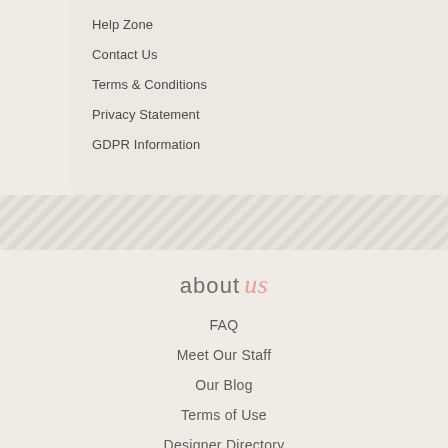Help Zone
Contact Us
Terms & Conditions
Privacy Statement
GDPR Information
about us
FAQ
Meet Our Staff
Our Blog
Terms of Use
Designer Directory